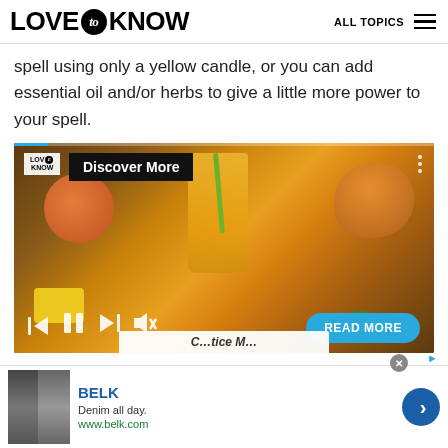LOVE to KNOW — ALL TOPICS
spell using only a yellow candle, or you can add essential oil and/or herbs to give a little more power to your spell.
[Figure (screenshot): Video player showing a glass of mango juice with fresh mangoes on a wooden table. The player has a LoveToKnow logo, 'Discover More' banner, playback controls (skip back, pause, skip forward, mute), a READ MORE button, and a progress bar at the top.]
[Figure (screenshot): Advertisement for BELK: 'Denim all day. www.belk.com' with fashion images on the left and a blue arrow button on the right.]